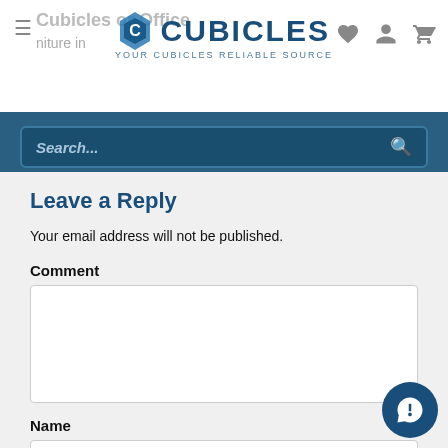Cubicles or Office — CUBICLES YOUR CUBICLES RELIABLE SOURCE
Search...
Leave a Reply
Your email address will not be published.
Comment
Name